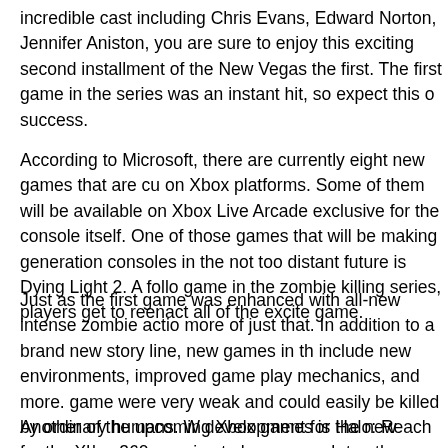incredible cast including Chris Evans, Edward Norton, Jennifer Aniston, you are sure to enjoy this exciting second installment of the New Vegas the first. The first game in the series was an instant hit, so expect this o success.
According to Microsoft, there are currently eight new games that are cu on Xbox platforms. Some of them will be available on Xbox Live Arcade exclusive for the console itself. One of those games that will be making generation consoles in the not too distant future is Dying Light 2. A foll game in the zombie killing series, players get to reenact all of the excite game.
Just as the first game was enhanced with all-new intense zombie actio more of just that. In addition to a brand new story line, new games in th include new environments, improved game play mechanics, and more. game were very weak and could easily be killed by ordinary humans. W development for the new games, players are going to have a much tou the undead. In fact, some of them may be unable to even enter a buildi manage to repel the attack.
Another of the upcoming Xbox games is Halo: Reach for the Xbox 360.